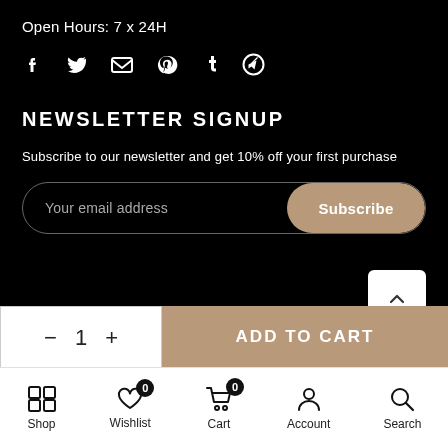Open Hours: 7 x 24H
[Figure (other): Social media icons: Facebook, Twitter, Email, Pinterest, Tumblr, Telegram]
NEWSLETTER SIGNUP
Subscribe to our newsletter and get 10% off your first purchase
Your email address | Subscribe
[Figure (other): Scroll to top button with up chevron]
− 1 +  ADD TO CART
Shop  Wishlist 0  Cart 0  Account  Search